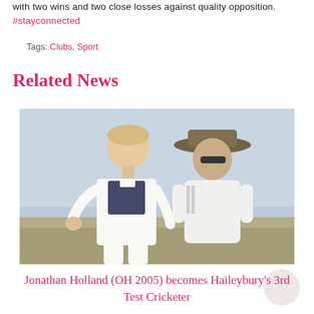with two wins and two close losses against quality opposition. #stayconnected
Tags: Clubs, Sport
Related News
[Figure (photo): Two cricket players in white cricket uniforms on a field. One younger player in the foreground, one older player wearing a wide-brimmed hat in the background.]
Jonathan Holland (OH 2005) becomes Haileybury's 3rd Test Cricketer